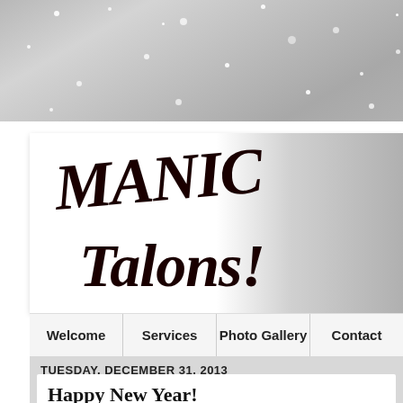[Figure (photo): Silver glitter/bokeh snow background at top of page]
[Figure (logo): Manic Talons! logo in black brush-script lettering on white-to-silver gradient background]
Welcome   Services   Photo Gallery   Contact
TUESDAY, DECEMBER 31, 2013
Happy New Year!
Labels: Dashica, Holographic, Lechat, Mood, Pueen, Stamping
Affiliate Links
Purchased by Me